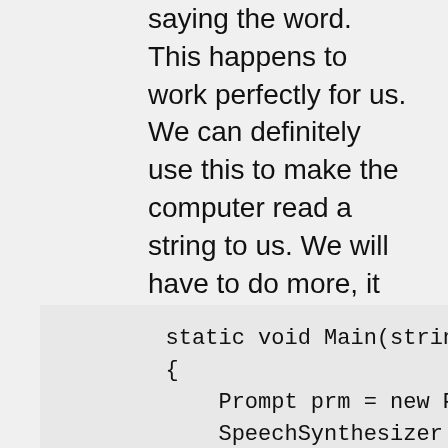saying the word. This happens to work perfectly for us. We can definitely use this to make the computer read a string to us. We will have to do more, it just adds slight difficulties to our further implementation.
static void Main(string[]
{
    Prompt prm = new Promp
    SpeechSynthesizer spee
    var col = speechSynthe
    speechSynthesizer.Sele
    speechSynthesizer.Spea

    string line = "";
    while (line != "qqq")
    {
        line = Console.Rea
        prm = new Prompt(